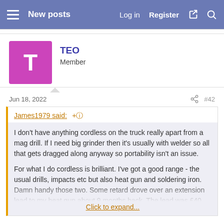New posts | Log in | Register
TEO
Member
Jun 18, 2022  #42
James1979 said: ⊕
I don't have anything cordless on the truck really apart from a mag drill. If I need big grinder then it's usually with welder so all that gets dragged along anyway so portability isn't an issue.

For what I do cordless is brilliant. I've got a good range - the usual drills, impacts etc but also heat gun and soldering iron. Damn handy those two. Some retard drove over an extension lead to my heat gun about 9 months back. The lead was £40.
Click to expand...
The business of bigger AH batteries giving better performance didn't make sense to me - surely its the same voltage? But then Mr. Bosch told me that some of the tools